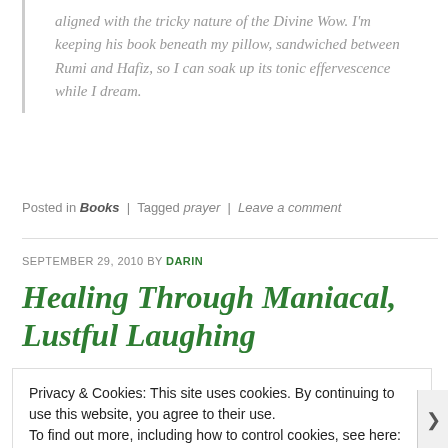aligned with the tricky nature of the Divine Wow. I'm keeping his book beneath my pillow, sandwiched between Rumi and Hafiz, so I can soak up its tonic effervescence while I dream.
Posted in Books | Tagged prayer | Leave a comment
SEPTEMBER 29, 2010 BY DARIN
Healing Through Maniacal, Lustful Laughing
Association For The Betterment Of Sex
Privacy & Cookies: This site uses cookies. By continuing to use this website, you agree to their use.
To find out more, including how to control cookies, see here: Cookie Policy